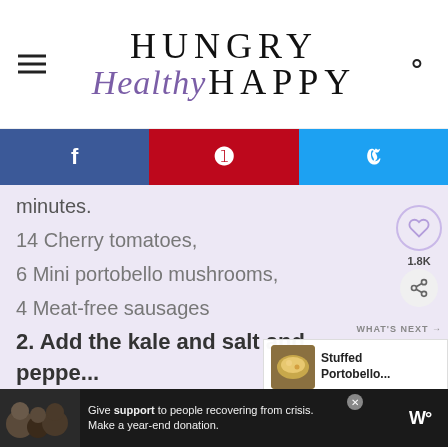HUNGRY Healthy HAPPY
[Figure (screenshot): Social share buttons: Facebook (blue), Pinterest (red), Twitter (cyan)]
minutes.
14 Cherry tomatoes,
6 Mini portobello mushrooms,
4 Meat-free sausages
2. Add the kale and salt and pepper, and cook for a further 5 m...
2 handful Kale,
[Figure (screenshot): What's Next section: Stuffed Portobello... with food photo thumbnail]
[Figure (screenshot): Advertisement bar: Give support to people recovering from crisis. Make a year-end donation.]